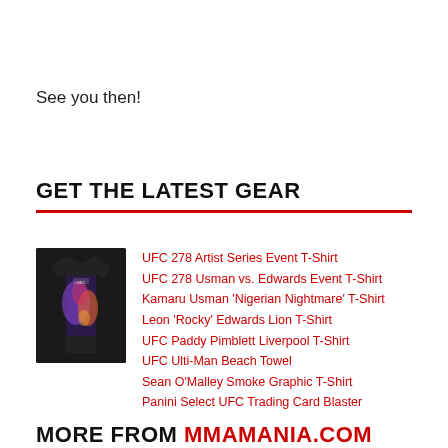See you then!
GET THE LATEST GEAR
[Figure (photo): A black UFC event t-shirt with colorful graphic of fighters on a purple/orange background]
UFC 278 Artist Series Event T-Shirt
UFC 278 Usman vs. Edwards Event T-Shirt
Kamaru Usman 'Nigerian Nightmare' T-Shirt
Leon 'Rocky' Edwards Lion T-Shirt
UFC Paddy Pimblett Liverpool T-Shirt
UFC Ulti-Man Beach Towel
Sean O'Malley Smoke Graphic T-Shirt
Panini Select UFC Trading Card Blaster
MORE FROM MMAMANIA.COM